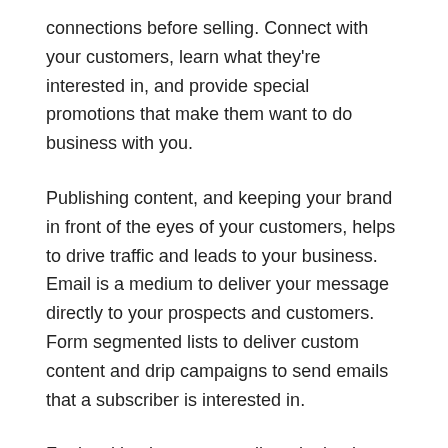connections before selling. Connect with your customers, learn what they're interested in, and provide special promotions that make them want to do business with you.
Publishing content, and keeping your brand in front of the eyes of your customers, helps to drive traffic and leads to your business. Email is a medium to deliver your message directly to your prospects and customers. Form segmented lists to deliver custom content and drip campaigns to send emails that a subscriber is interested in.
For local businesses, email marketing is a great tool to keep a conversation going.
6. Get Good Backlinks to Strengthen Your Domain
Strengthening your backlink profile will help to increase your domain authority. The more quality links you have, the stronger your website